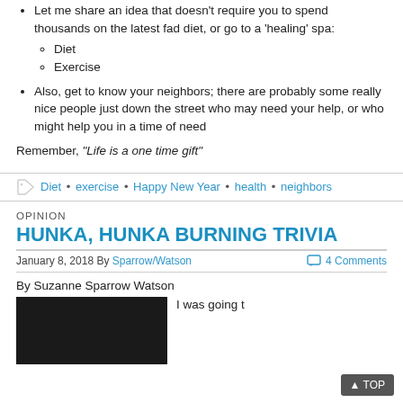Let me share an idea that doesn't require you to spend thousands on the latest fad diet, or go to a 'healing' spa:
  - Diet
  - Exercise
Also, get to know your neighbors; there are probably some really nice people just down the street who may need your help, or who might help you in a time of need
Remember, "Life is a one time gift"
Diet • exercise • Happy New Year • health • neighbors
OPINION
HUNKA, HUNKA BURNING TRIVIA
January 8, 2018 By Sparrow/Watson   4 Comments
By Suzanne Sparrow Watson
I was going t